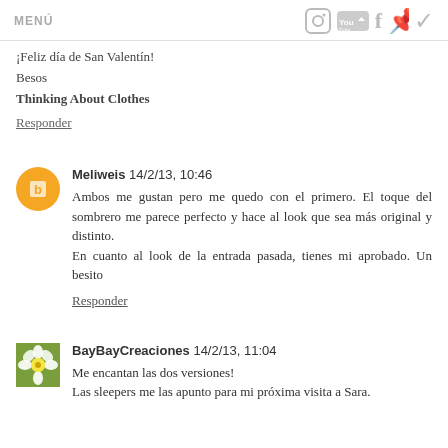MENÚ | social icons: Instagram, YouTube, Facebook, Pinterest
¡Feliz día de San Valentín!
Besos
Thinking About Clothes
Responder
Meliweis  14/2/13, 10:46
Ambos me gustan pero me quedo con el primero. El toque del sombrero me parece perfecto y hace al look que sea más original y distinto.
En cuanto al look de la entrada pasada, tienes mi aprobado. Un besito
Responder
BayBayCreaciones  14/2/13, 11:04
Me encantan las dos versiones!
Las sleepers me las apunto para mi próxima visita a Sara.